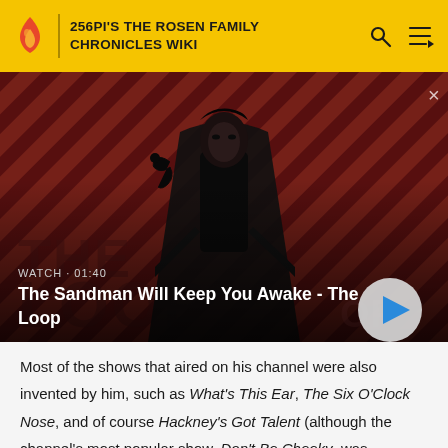256PI'S THE ROSEN FAMILY CHRONICLES WIKI
[Figure (screenshot): Video thumbnail showing a dark-cloaked figure with a raven on their shoulder against a red diagonal striped background. Text overlay reads WATCH · 01:40 and title The Sandman Will Keep You Awake - The Loop with a play button on the right.]
Most of the shows that aired on his channel were also invented by him, such as What's This Ear, The Six O'Clock Nose, and of course Hackney's Got Talent (although the channel's most popular show, Don't Be Cheeky, was